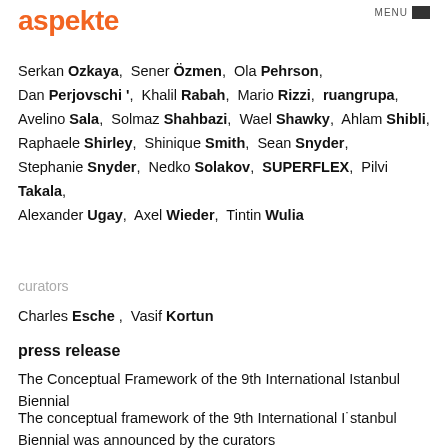aspekte
Serkan Ozkaya,  Sener Özmen,  Ola Pehrson,  Dan Perjovschi ',  Khalil Rabah,  Mario Rizzi,  ruangrupa,  Avelino Sala,  Solmaz Shahbazi,  Wael Shawky,  Ahlam Shibli,  Raphaele Shirley,  Shinique Smith,  Sean Snyder,  Stephanie Snyder,  Nedko Solakov,  SUPERFLEX,  Pilvi Takala,  Alexander Ugay,  Axel Wieder,  Tintin Wulia
curators
Charles Esche ,  Vasif Kortun
press release
The Conceptual Framework of the 9th International Istanbul Biennial
The conceptual framework of the 9th International I˙stanbul Biennial was announced by the curators